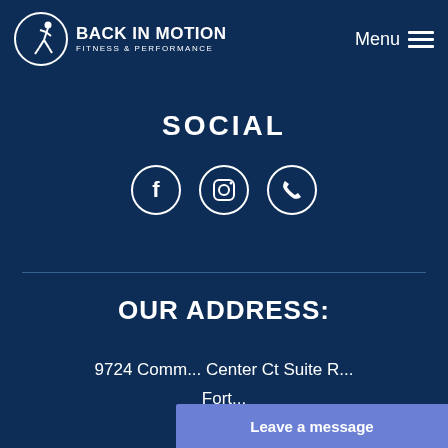[Figure (logo): Back In Motion Fitness & Performance logo with running figure in circle on dark blue background]
Menu
SOCIAL
[Figure (illustration): Three circular social media icons: Facebook, Instagram, and Phone]
OUR ADDRESS:
9724 Comm... Center Ct Suite R...
Fort...
Leave a message